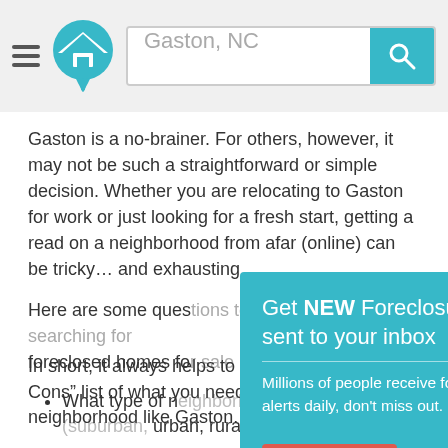Gaston, NC [search bar with logo]
Gaston is a no-brainer. For others, however, it may not be such a straightforward or simple decision. Whether you are relocating to Gaston for work or just looking for a fresh start, getting a read on a neighborhood from afar (online) can be tricky… and exhausting.
Here are some questions to ask yourself when searching for foreclosed homes for sale in Gaston:
What type of neighborhood suits you best? (suburban, urban, rural, etc.)
What types of amenities are important to you? (good restaurants (fast food, local, organic), grocery stores (big, mixed) would be ideal)
What leisure-time activities are things you like to enjoy?
What type of community environment would you prefer to seek?
[Figure (screenshot): Modal overlay: Get NEW Foreclosure Listings sent to your inbox. Millions of people receive foreclosure alerts daily, don't miss out. Signup Here button. No Thanks | Remind Me Later links. Envelope icon graphic.]
In short, it always helps to create a “Pros vs. Cons” list of what you need in a home and/or neighborhood like Gaston.